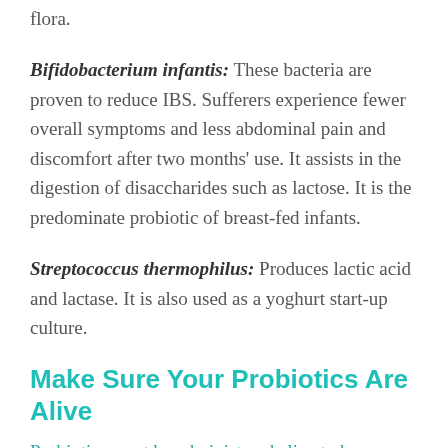flora.
Bifidobacterium infantis: These bacteria are proven to reduce IBS. Sufferers experience fewer overall symptoms and less abdominal pain and discomfort after two months' use. It assists in the digestion of disaccharides such as lactose. It is the predominate probiotic of breast-fed infants.
Streptococcus thermophilus: Produces lactic acid and lactase. It is also used as a yoghurt start-up culture.
Make Sure Your Probiotics Are Alive
Probiotics must be administered alive to be effective. The methods of shipping, storage, and